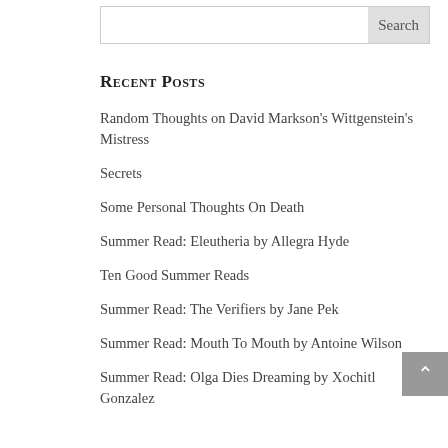Search
Recent Posts
Random Thoughts on David Markson's Wittgenstein's Mistress
Secrets
Some Personal Thoughts On Death
Summer Read: Eleutheria by Allegra Hyde
Ten Good Summer Reads
Summer Read: The Verifiers by Jane Pek
Summer Read: Mouth To Mouth by Antoine Wilson
Summer Read: Olga Dies Dreaming by Xochitl Gonzalez